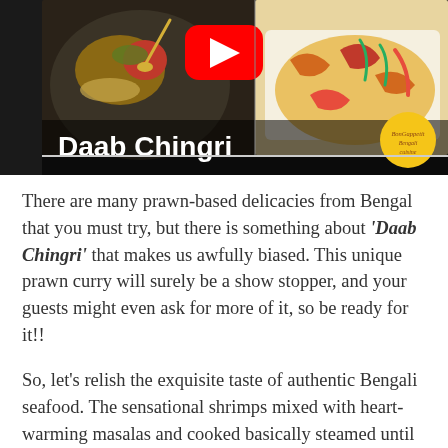[Figure (photo): Thumbnail image showing two food dishes side by side with a YouTube play button overlay. Text 'Daab Chingri' in bold white overlaid at bottom left, and a circular BonGappetit logo at bottom right.]
There are many prawn-based delicacies from Bengal that you must try, but there is something about 'Daab Chingri' that makes us awfully biased. This unique prawn curry will surely be a show stopper, and your guests might even ask for more of it, so be ready for it!!
So, let's relish the exquisite taste of authentic Bengali seafood. The sensational shrimps mixed with heart-warming masalas and cooked basically steamed until cooked wrapped in tender